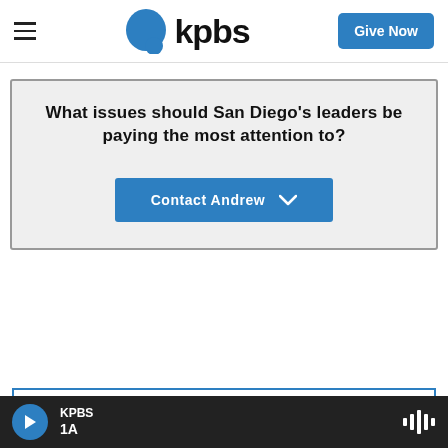[Figure (logo): KPBS logo with blue speech bubble icon and text 'kpbs']
Give Now
What issues should San Diego's leaders be paying the most attention to?
Contact Andrew ∨
KPBS
1A